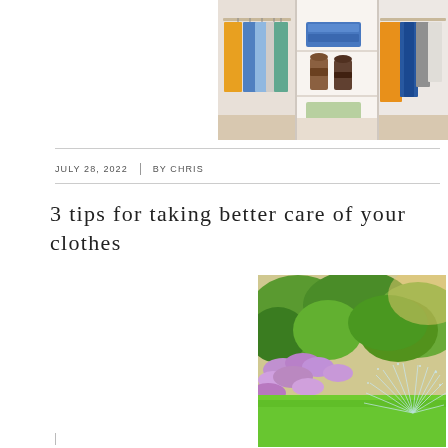[Figure (photo): A closet/wardrobe photo showing hanging colorful shirts on left, shelves with folded blue clothes and shoes in middle, and hanging clothes on right]
JULY 28, 2022 | BY CHRIS
3 tips for taking better care of your clothes
[Figure (photo): A garden scene with green lawn, green plants, purple flowers, and sprinkler water spray visible]